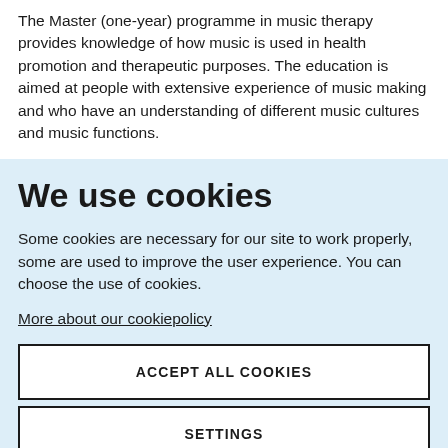The Master (one-year) programme in music therapy provides knowledge of how music is used in health promotion and therapeutic purposes. The education is aimed at people with extensive experience of music making and who have an understanding of different music cultures and music functions.
We use cookies
Some cookies are necessary for our site to work properly, some are used to improve the user experience. You can choose the use of cookies.
More about our cookiepolicy
ACCEPT ALL COOKIES
SETTINGS